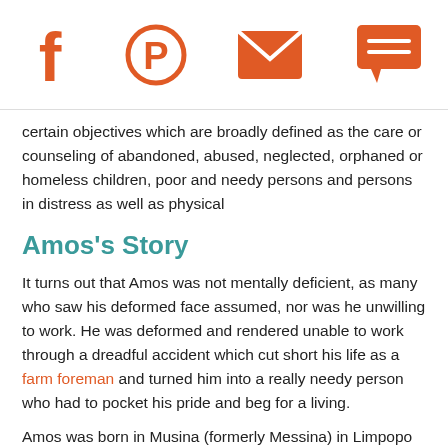Social media icons: Facebook, Pinterest, Email, Chat
certain objectives which are broadly defined as the care or counseling of abandoned, abused, neglected, orphaned or homeless children, poor and needy persons and persons in distress as well as physical
Amos's Story
It turns out that Amos was not mentally deficient, as many who saw his deformed face assumed, nor was he unwilling to work. He was deformed and rendered unable to work through a dreadful accident which cut short his life as a farm foreman and turned him into a really needy person who had to pocket his pride and beg for a living.
Amos was born in Musina (formerly Messina) in Limpopo Province in 1978. In common with many, indeed far too many, people in South Africa, his father was unknown to him and his mother died when Amos was just 10 years old. As a